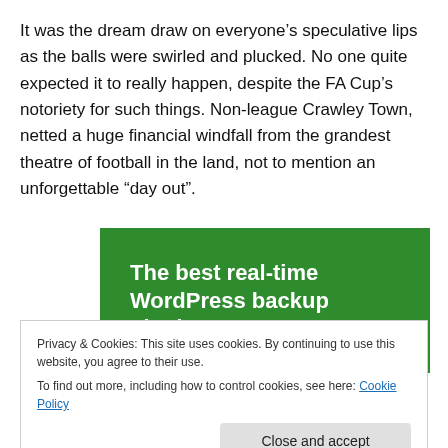It was the dream draw on everyone’s speculative lips as the balls were swirled and plucked. No one quite expected it to really happen, despite the FA Cup’s notoriety for such things. Non-league Crawley Town, netted a huge financial windfall from the grandest theatre of football in the land, not to mention an unforgettable “day out”.
[Figure (other): Green advertisement banner with white bold text reading 'The best real-time WordPress backup plugin']
Privacy & Cookies: This site uses cookies. By continuing to use this website, you agree to their use.
To find out more, including how to control cookies, see here: Cookie Policy
Close and accept